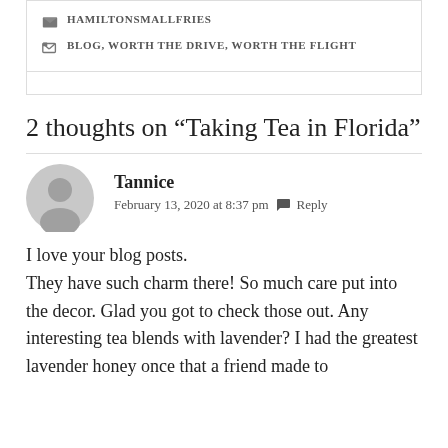HAMILTONSMALLFRIES
BLOG, WORTH THE DRIVE, WORTH THE FLIGHT
2 thoughts on “Taking Tea in Florida”
Tannice
February 13, 2020 at 8:37 pm  Reply
I love your blog posts.
They have such charm there! So much care put into the decor. Glad you got to check those out. Any interesting tea blends with lavender? I had the greatest lavender honey once that a friend made to